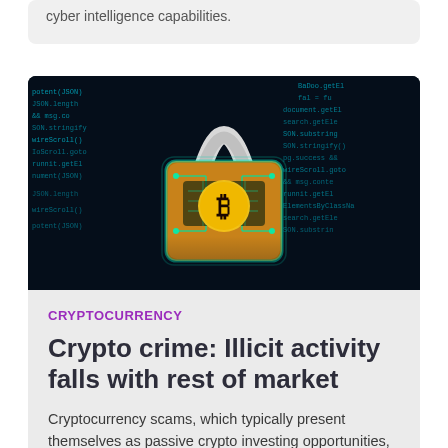cyber intelligence capabilities.
[Figure (photo): A glowing digital padlock with a Bitcoin symbol on a circuit board, surrounded by code text on a dark blue background — representing cryptocurrency security or crypto crime.]
CRYPTOCURRENCY
Crypto crime: Illicit activity falls with rest of market
Cryptocurrency scams, which typically present themselves as passive crypto investing opportunities, are less enticing to potential victims.